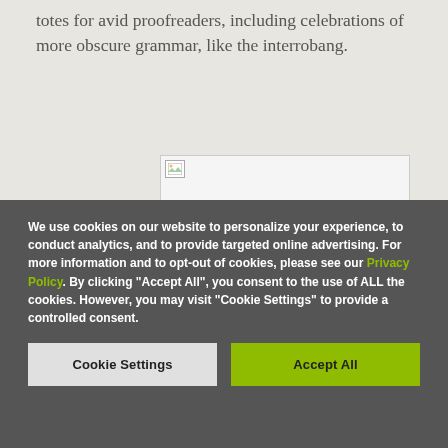totes for avid proofreaders, including celebrations of more obscure grammar, like the interrobang.
[Figure (photo): Partially visible image placeholder with broken image icon in top-left corner]
We use cookies on our website to personalize your experience, to conduct analytics, and to provide targeted online advertising. For more information and to opt-out of cookies, please see our Privacy Policy. By clicking "Accept All", you consent to the use of ALL the cookies. However, you may visit "Cookie Settings" to provide a controlled consent.
Cookie Settings
Accept All